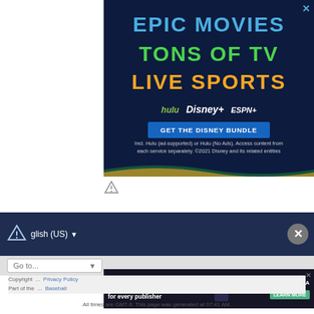[Figure (screenshot): Disney Bundle advertisement with dark navy background. Text reads EPIC MOVIES in blue, TONS OF TV in green, LIVE SPORTS in orange/yellow. Shows Hulu, Disney+, and ESPN+ logos. Blue button reads GET THE DISNEY BUNDLE. Fine print: Incl. Hulu (ad-supported) or Hulu (No Ads). Access content from each service separately. ©2021 Disney and its related entities]
[Figure (screenshot): Freestar tailored ad management solutions advertisement banner with dark background, showing robot/tech illustration and LEARN MORE button]
Copyright ... Privacy Policy Part of the ... Baseball
All times are GMT-8. This page was generated at 07:41 AM.